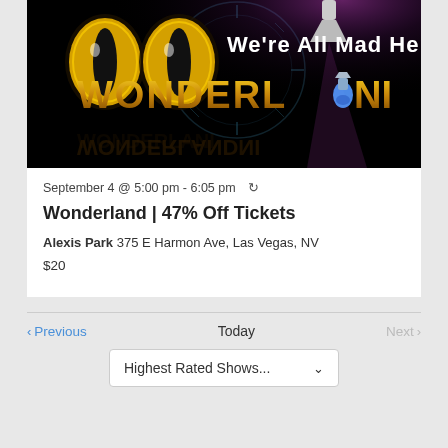[Figure (photo): Wonderland show promotional image with yellow cat eyes, gold text reading WONDERLAND, and We're All Mad Here text on dark background with spotlight]
September 4 @ 5:00 pm - 6:05 pm
Wonderland | 47% Off Tickets
Alexis Park 375 E Harmon Ave, Las Vegas, NV
$20
Previous
Today
Next
Highest Rated Shows...